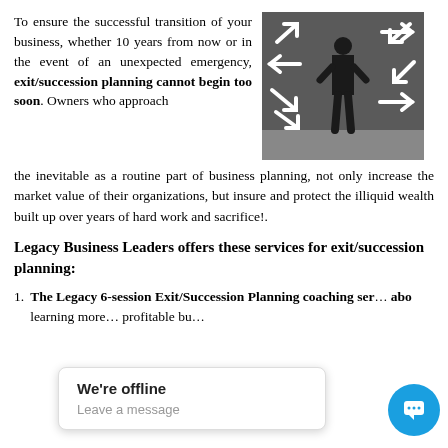To ensure the successful transition of your business, whether 10 years from now or in the event of an unexpected emergency, exit/succession planning cannot begin too soon. Owners who approach the inevitable as a routine part of business planning, not only increase the market value of their organizations, but insure and protect the illiquid wealth built up over years of hard work and sacrifice!.
[Figure (photo): Man in suit standing with hands on hips facing a wall covered in white arrows pointing in various directions]
Legacy Business Leaders offers these services for exit/succession planning:
The Legacy 6-session Exit/Succession Planning coaching ser… about learning more… profitable bu…